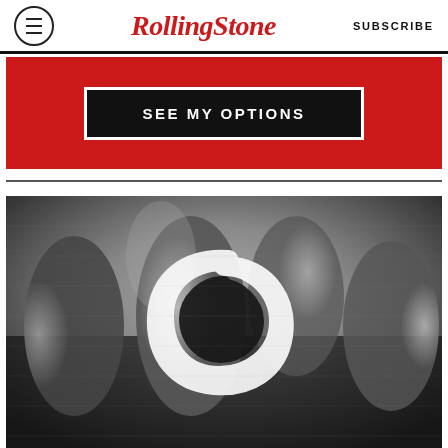Rolling Stone — SUBSCRIBE
[Figure (other): Red subscribe banner with black button labeled SEE MY OPTIONS]
[Figure (photo): Black and white photo of a group of rock musicians with a Metallica black album snake logo overlaid in the center]